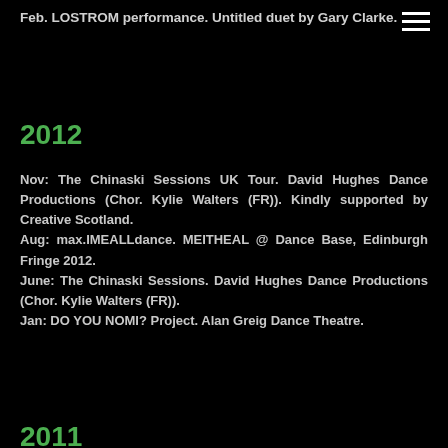Feb. LOSTROM performance. Untitled duet by Gary Clarke.
2012
Nov: The Chinaski Sessions UK Tour. David Hughes Dance Productions (Chor. Kylie Walters (FR)). Kindly supported by Creative Scotland.
Aug: max.IMEALLdance. MEITHEAL @ Dance Base, Edinburgh Fringe 2012.
June: The Chinaski Sessions. David Hughes Dance Productions (Chor. Kylie Walters (FR)).
Jan: DO YOU NOMI? Project. Alan Greig Dance Theatre.
2011